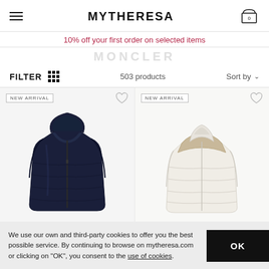MYTHERESA
10% off your first order on selected items
MONCLER
FILTER  503 products  Sort by
[Figure (photo): Dark navy quilted down jacket with hood — NEW ARRIVAL product card]
[Figure (photo): White and beige color-block quilted puffer jacket — NEW ARRIVAL product card]
We use our own and third-party cookies to offer you the best possible service. By continuing to browse on mytheresa.com or clicking on "OK", you consent to the use of cookies.